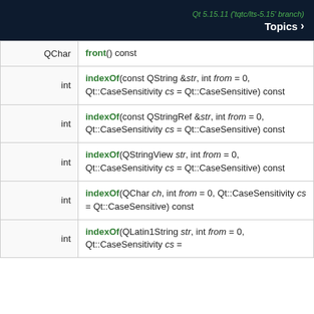Qt 5.15.11 ('tqtc/lts-5.15' branch)
Topics >
| Type | Signature |
| --- | --- |
| QChar | front() const |
| int | indexOf(const QString &str, int from = 0, Qt::CaseSensitivity cs = Qt::CaseSensitive) const |
| int | indexOf(const QStringRef &str, int from = 0, Qt::CaseSensitivity cs = Qt::CaseSensitive) const |
| int | indexOf(QStringView str, int from = 0, Qt::CaseSensitivity cs = Qt::CaseSensitive) const |
| int | indexOf(QChar ch, int from = 0, Qt::CaseSensitivity cs = Qt::CaseSensitive) const |
| int | indexOf(QLatin1String str, int from = 0, Qt::CaseSensitivity cs = |